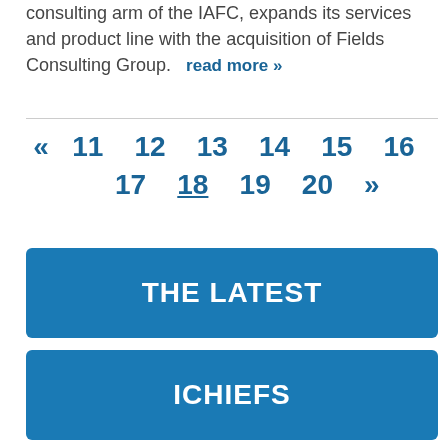consulting arm of the IAFC, expands its services and product line with the acquisition of Fields Consulting Group.   read more »
« 11 12 13 14 15 16 17 18 19 20 »
THE LATEST
ICHIEFS